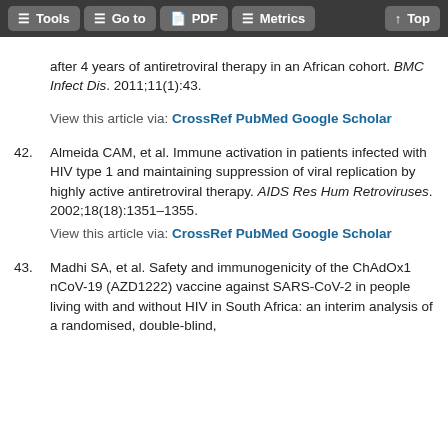Tools  Go to  PDF  Metrics  Top
after 4 years of antiretroviral therapy in an African cohort. BMC Infect Dis. 2011;11(1):43.
View this article via: CrossRef PubMed Google Scholar
42. Almeida CAM, et al. Immune activation in patients infected with HIV type 1 and maintaining suppression of viral replication by highly active antiretroviral therapy. AIDS Res Hum Retroviruses. 2002;18(18):1351–1355.
View this article via: CrossRef PubMed Google Scholar
43. Madhi SA, et al. Safety and immunogenicity of the ChAdOx1 nCoV-19 (AZD1222) vaccine against SARS-CoV-2 in people living with and without HIV in South Africa: an interim analysis of a randomised, double-blind,